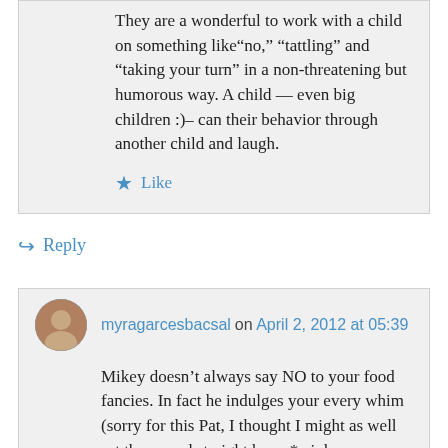They are a wonderful to work with a child on something like“no,” “tattling” and “taking your turn” in a non-threatening but humorous way. A child — even big children :)– can their behavior through another child and laugh.
★ Like
↪ Reply
myragarcesbacsal on April 2, 2012 at 05:39
Mikey doesn’t always say NO to your food fancies. In fact he indulges your every whim (sorry for this Pat, I thought I might as well set the record straight here, *wink